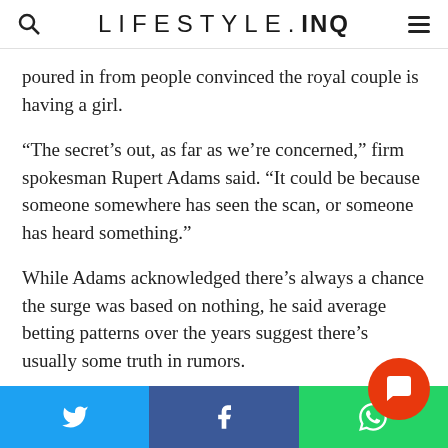LIFESTYLE.INQ
poured in from people convinced the royal couple is having a girl.
“The secret’s out, as far as we’re concerned,” firm spokesman Rupert Adams said. “It could be because someone somewhere has seen the scan, or someone has heard something.”
While Adams acknowledged there’s always a chance the surge was based on nothing, he said average betting patterns over the years suggest there’s usually some truth in rumors.
So far, Diana is topping the bookmakers’ list as a fr… running name — William Hill has put the odds at 4…